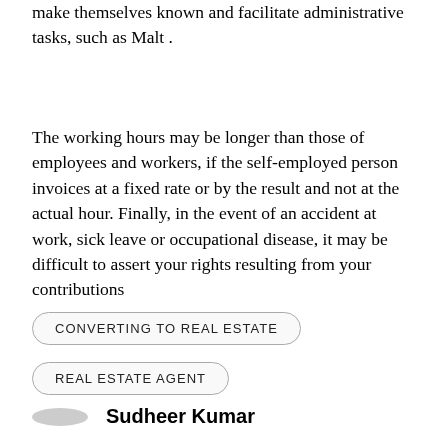make themselves known and facilitate administrative tasks, such as Malt .
The working hours may be longer than those of employees and workers, if the self-employed person invoices at a fixed rate or by the result and not at the actual hour. Finally, in the event of an accident at work, sick leave or occupational disease, it may be difficult to assert your rights resulting from your contributions
CONVERTING TO REAL ESTATE
REAL ESTATE AGENT
Sudheer Kumar